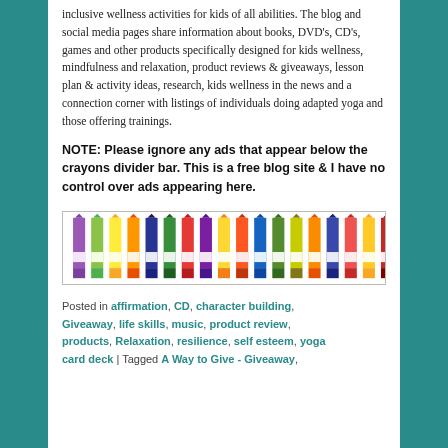inclusive wellness activities for kids of all abilities. The blog and social media pages share information about books, DVD's, CD's, games and other products specifically designed for kids wellness, mindfulness and relaxation, product reviews & giveaways, lesson plan & activity ideas, research, kids wellness in the news and a connection corner with listings of individuals doing adapted yoga and those offering trainings.
NOTE: Please ignore any ads that appear below the crayons divider bar. This is a free blog site & I have no control over ads appearing here.
[Figure (illustration): Row of colorful crayons in various colors including purple, green, yellow, orange, dark blue, red, arranged side by side, shown from above at an angle.]
Posted in affirmation, CD, character building, Giveaway, life skills, music, product review, products, Relaxation, resilience, self esteem, yoga card deck | Tagged A Way to Give - Giveaway,